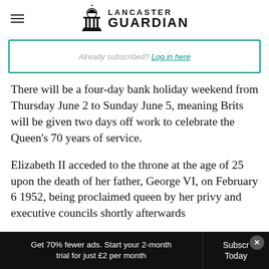Lancaster Guardian
Already subscribed? Log in here
There will be a four-day bank holiday weekend from Thursday June 2 to Sunday June 5, meaning Brits will be given two days off work to celebrate the Queen’s 70 years of service.
Elizabeth II acceded to the throne at the age of 25 upon the death of her father, George VI, on February 6 1952, being proclaimed queen by her privy and executive councils shortly afterwards
Get 70% fewer ads. Start your 2-month trial for just £2 per month | Subscribe Today